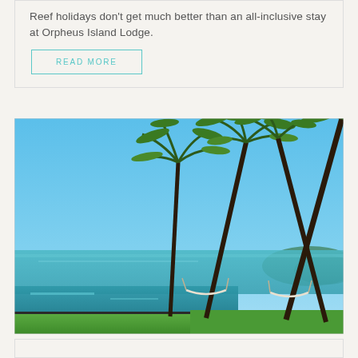Reef holidays don't get much better than an all-inclusive stay at Orpheus Island Lodge.
READ MORE
[Figure (photo): Tropical beach resort scene with tall leaning palm trees, an infinity pool, green lawn, hammocks, and calm turquoise ocean water under a clear blue sky — Orpheus Island Lodge.]